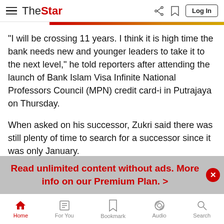The Star — Log In
“I will be crossing 11 years. I think it is high time the bank needs new and younger leaders to take it to the next level,” he told reporters after attending the launch of Bank Islam Visa Infinite National Professors Council (MPN) credit card-i in Putrajaya on Thursday.
When asked on his successor, Zukri said there was still plenty of time to search for a successor since it was only January.
“We will make announcement when the time comes,” he said.
On Bank Islam Visa Infinite MPN credit card-i, he said it was introduced in response to Bank Negara’s call for a cashless
Read unlimited content without ads. More info on our Premium Plan. >
Home | For You | Bookmark | Audio | Search